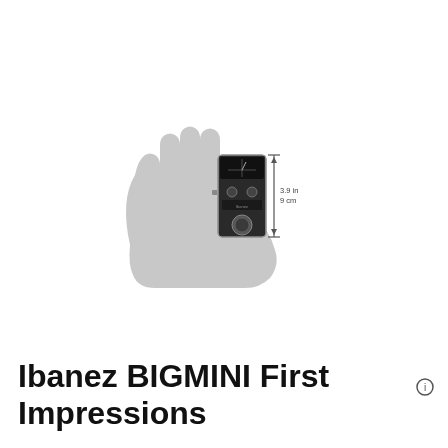[Figure (photo): A small Ibanez BIGMINI guitar tuner pedal resting on the palm of a hand silhouette (gray). A vertical dimension arrow on the right side of the pedal shows the measurement 3.9 in / 9 cm.]
Ibanez BIGMINI First Impressions